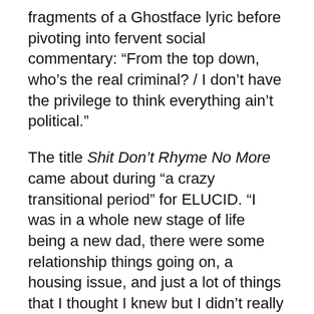fragments of a Ghostface lyric before pivoting into fervent social commentary: “From the top down, who’s the real criminal? / I don’t have the privilege to think everything ain’t political.”
The title Shit Don’t Rhyme No More came about during “a crazy transitional period” for ELUCID. “I was in a whole new stage of life being a new dad, there were some relationship things going on, a housing issue, and just a lot of things that I thought I knew but I didn’t really know,” he says. “But I’m here, I made it—things are rhyming these days and it feels good.”
Bernadette